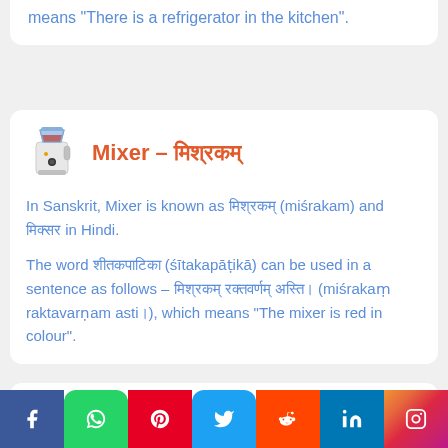means “There is a refrigerator in the kitchen”.
Mixer – मिश्रकम्
In Sanskrit, Mixer is known as मिश्रकम् (miśrakam) and मिक्सर in Hindi.
The word शीतकपाटिका (śītakapāṭikā) can be used in a sentence as follows – मिश्रकम् रक्तवर्णम् अस्ति। (miśrakaṃ raktavarṇam asti।), which means “The mixer is red in colour”.